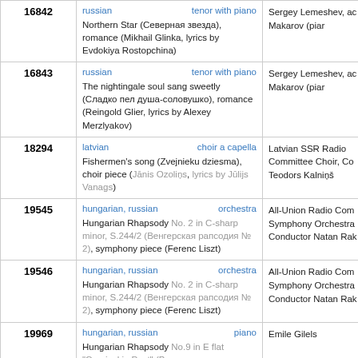| ID | Info | Performer |
| --- | --- | --- |
| 16842 | russian | tenor with piano
Northern Star (Северная звезда), romance (Mikhail Glinka, lyrics by Evdokiya Rostopchina) | Sergey Lemeshev, ac Abram Makarov (piar |
| 16843 | russian | tenor with piano
The nightingale soul sang sweetly (Сладко пел душа-соловушко), romance (Reingold Glier, lyrics by Alexey Merzlyakov) | Sergey Lemeshev, ac Abram Makarov (piar |
| 18294 | latvian | choir a capella
Fishermen's song (Zvejnieku dziesma), choir piece (Jānis Ozoliņs, lyrics by Jūlijs Vanags) | Latvian SSR Radio Committee Choir, Co Teodors Kalniņš |
| 19545 | hungarian, russian | orchestra
Hungarian Rhapsody No. 2 in C-sharp minor, S.244/2 (Венгерская рапсодия № 2), symphony piece (Ferenc Liszt) | All-Union Radio Com Symphony Orchestra Conductor Natan Rak |
| 19546 | hungarian, russian | orchestra
Hungarian Rhapsody No. 2 in C-sharp minor, S.244/2 (Венгерская рапсодия № 2), symphony piece (Ferenc Liszt) | All-Union Radio Com Symphony Orchestra Conductor Natan Rak |
| 19969 | hungarian, russian | piano
Hungarian Rhapsody No.9 in E flat "Carnival in Pest" (Венгерская рапсодия ми-бемоль мажор No. 9, S. 244/9 "Пештский карнавал"), chamber piece (Ferenc Liszt) | Emile Gilels |